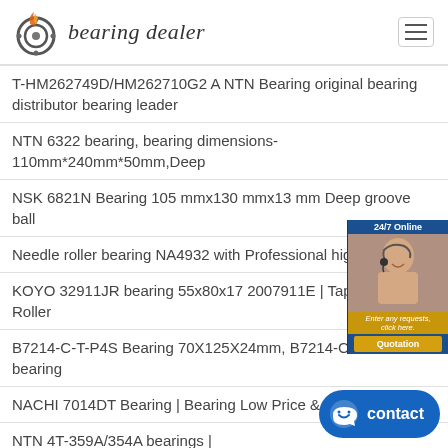bearing dealer
T-HM262749D/HM262710G2 A NTN Bearing original bearing distributor bearing leader
NTN 6322 bearing, bearing dimensions-110mm*240mm*50mm,Deep
NSK 6821N Bearing 105 mmx130 mmx13 mm Deep groove ball
Needle roller bearing NA4932 with Professional high
KOYO 32911JR bearing 55x80x17 2007911E | Tape Roller
B7214-C-T-P4S Bearing 70X125X24mm, B7214-C-T-P4S bearing
NACHI 7014DT Bearing | Bearing Low Price & Trade
NTN 4T-359A/354A bearings | 46.038x85.000x21.692mm - Nodes
NJ1030 NSK Bearing best bearing best price bearing information
NKXR25 NTN Outer Diameter 37.000mm 25x37x30mm Compound